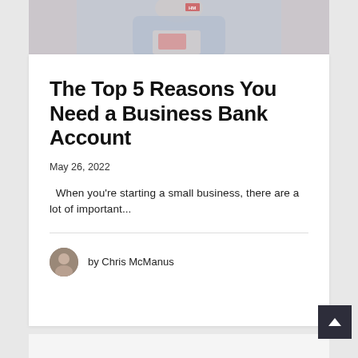[Figure (photo): Partial photo of a person in a light blue sweater, appears to be working at a desk with papers, cropped at top of card]
The Top 5 Reasons You Need a Business Bank Account
May 26, 2022
When you're starting a small business, there are a lot of important...
by Chris McManus